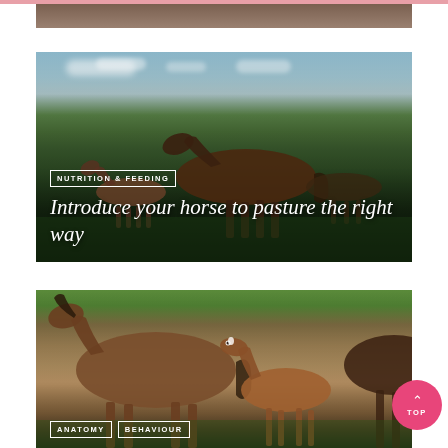[Figure (photo): Cropped bottom portion of a horse photo visible at the very top of the page]
[Figure (photo): Horses grazing in a green pasture under a partly cloudy sky, with trees in the background]
NUTRITION & FEEDING
Introduce your horse to pasture the right way
[Figure (photo): A mare and foal standing in a green field, with the small foal looking toward the camera]
ANATOMY   BEHAVIOUR